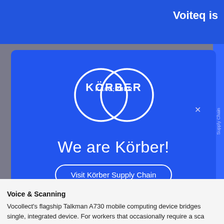Voiteq is
[Figure (logo): Körber logo — two overlapping circles with KÖRBER text inside, on a blue background, with tagline 'We are Körber!' and a 'Visit Körber Supply Chain' button]
Voice & Scanning
Vocollect's flagship Talkman A730 mobile computing device bridges single, integrated device. For workers that occasionally require a sca